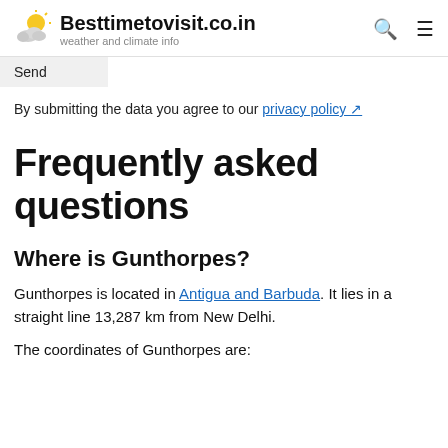Besttimetovisit.co.in — weather and climate info
Send
By submitting the data you agree to our privacy policy
Frequently asked questions
Where is Gunthorpes?
Gunthorpes is located in Antigua and Barbuda. It lies in a straight line 13,287 km from New Delhi.
The coordinates of Gunthorpes are: